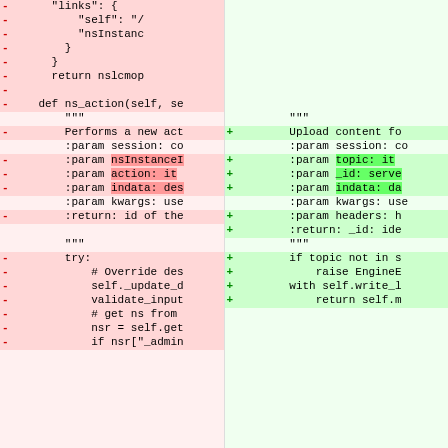[Figure (screenshot): A split-view code diff showing removed lines (left, pink/red) and added lines (right, green). Left side shows Python code with lines starting with '-' including 'links': {, 'self': '/', 'nsInstanc, }, }, return nslcmop, (blank), def ns_action(self, se, """, Performs a new act, :param session: co, :param nsInstanceI, :param action: it, :param indata: des, :param kwargs: use, :return: id of the, """, try:, # Override des, self._update_d, validate_input, # get ns from, nsr = self.get, if nsr['_admin. Right side shows Python code with lines starting with '+' including Upload content fo, :param session: co, :param topic: it, :param _id: serve, :param indata: da, :param kwargs: use, :param headers: h, :return: _id: ide, """, if topic not in s, raise EngineE, with self.write_l, return self.m]